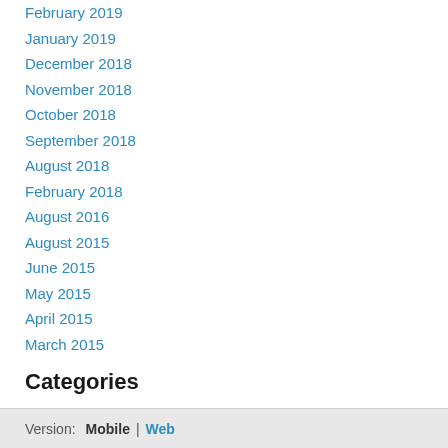February 2019
January 2019
December 2018
November 2018
October 2018
September 2018
August 2018
February 2018
August 2016
August 2015
June 2015
May 2015
April 2015
March 2015
Categories
All
RSS Feed
Version:  Mobile | Web